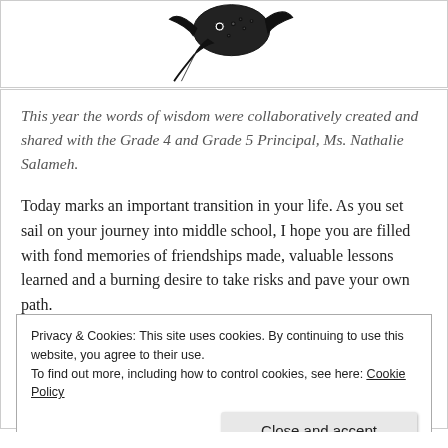[Figure (illustration): Black and white illustration of a decorative bird or quill-like figure at the top of the page]
This year the words of wisdom were collaboratively created and shared with the Grade 4 and Grade 5 Principal, Ms. Nathalie Salameh.
Today marks an important transition in your life. As you set sail on your journey into middle school, I hope you are filled with fond memories of friendships made, valuable lessons learned and a burning desire to take risks and pave your own path.
Privacy & Cookies: This site uses cookies. By continuing to use this website, you agree to their use. To find out more, including how to control cookies, see here: Cookie Policy
Close and accept